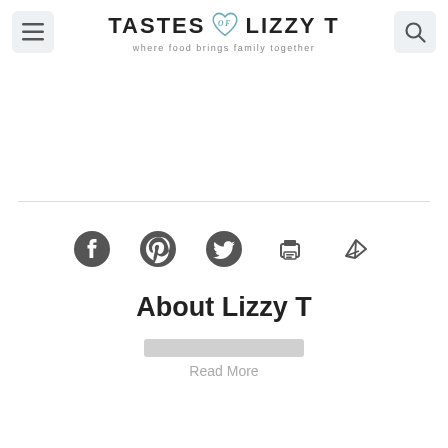TASTES of LIZZY T — where food brings family together
[Figure (logo): Tastes of Lizzy T logo with heart icon and tagline 'where food brings family together']
[Figure (infographic): Social sharing icons row: Facebook, Pinterest, Twitter, Print, Email/Send]
About Lizzy T
Read More